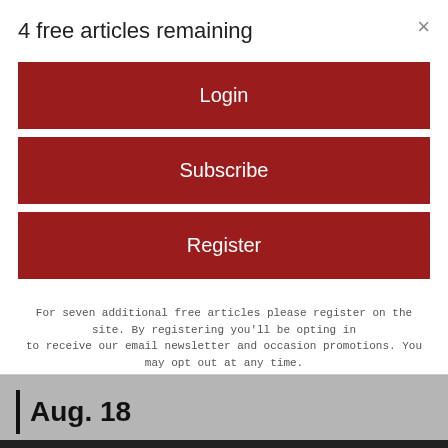4 free articles remaining
×
Login
Subscribe
Register
For seven additional free articles please register on the site. By registering you'll be opting in to receive our email newsletter and occasion promotions. You may opt out at any time.
Aug. 18